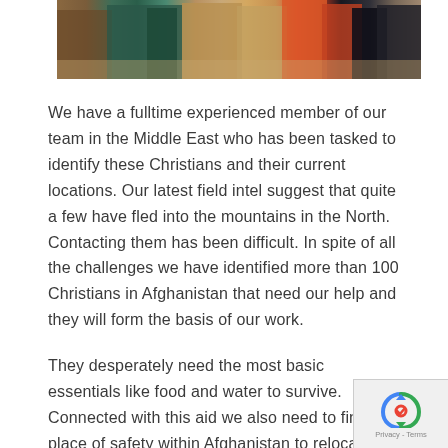[Figure (photo): Partial photo showing several people standing, wearing colorful clothing including a blue patterned outfit, tan/brown garment, and a red top. Sandy/outdoor background visible. Image is cropped showing only lower bodies and torsos.]
We have a fulltime experienced member of our team in the Middle East who has been tasked to identify these Christians and their current locations. Our latest field intel suggest that quite a few have fled into the mountains in the North. Contacting them has been difficult. In spite of all the challenges we have identified more than 100 Christians in Afghanistan that need our help and they will form the basis of our work.
They desperately need the most basic essentials like food and water to survive. Connected with this aid we also need to find a place of safety within Afghanistan to relocate these families. There we will